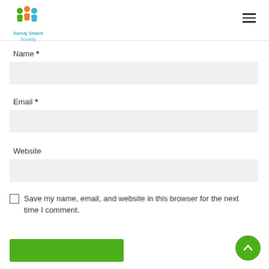Samaj Shakti Society
Name *
Email *
Website
Save my name, email, and website in this browser for the next time I comment.